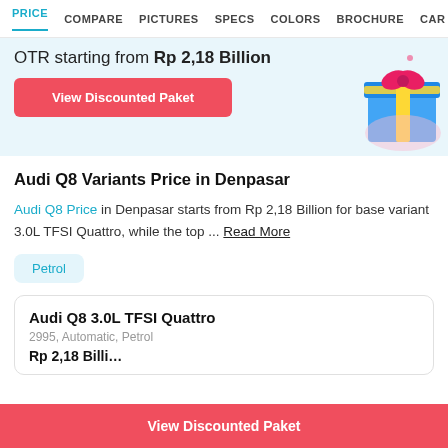PRICE  COMPARE  PICTURES  SPECS  COLORS  BROCHURE  CAR D
OTR starting from Rp 2,18 Billion
View Discounted Paket
Audi Q8 Variants Price in Denpasar
Audi Q8 Price in Denpasar starts from Rp 2,18 Billion for base variant 3.0L TFSI Quattro, while the top ... Read More
Petrol
Audi Q8 3.0L TFSI Quattro
2995, Automatic, Petrol
View Discounted Paket